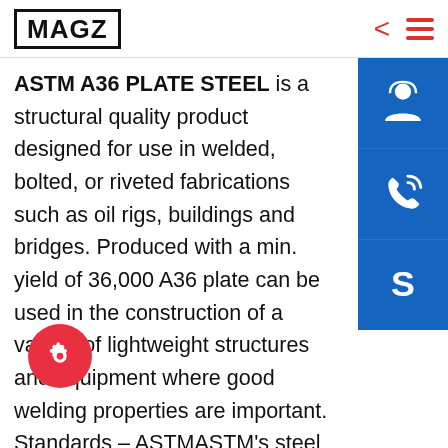MAGZ
ASTM A36 PLATE STEEL is a structural quality product designed for use in welded, bolted, or riveted fabrications such as oil rigs, buildings and bridges. Produced with a min. yield of 36,000 A36 plate can be used in the construction of a variety of lightweight structures and equipment where good welding properties are important. Standards - ASTMASTM's steel standards are instrumental in classifying, evaluating, and specifying the material, chemical, mechanical, and metallurgical properties of the different types of steels which are primarily used in the production of mechanical components, industrial parts, and